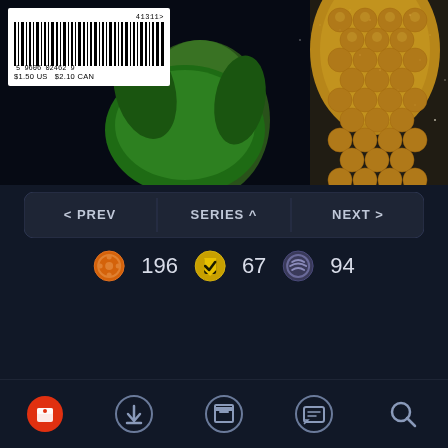[Figure (screenshot): Comic book cover bottom portion showing space background with green planet, gold armored figure, and barcode label showing '41311>', '59606 02462 9', '$1.50 US  $2.10 CAN']
[Figure (screenshot): Navigation bar with three buttons: < PREV, SERIES ^, NEXT >]
196  67  94
[Figure (screenshot): Bottom toolbar with 5 icons: home/red cube, download, box/library, chat/reading, search]